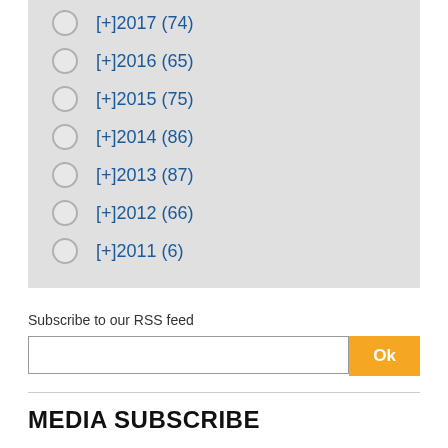[+]2017 (74)
[+]2016 (65)
[+]2015 (75)
[+]2014 (86)
[+]2013 (87)
[+]2012 (66)
[+]2011 (6)
Subscribe to our RSS feed
MEDIA SUBSCRIBE